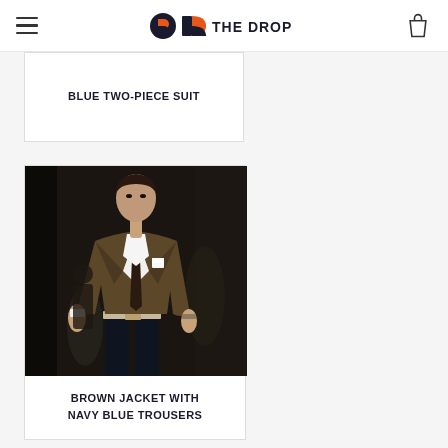THE DROP
BLUE TWO-PIECE SUIT
[Figure (photo): Man wearing a brown blazer jacket with a dark tie and white dress shirt, paired with navy blue trousers, standing in a doorway]
BROWN JACKET WITH NAVY BLUE TROUSERS